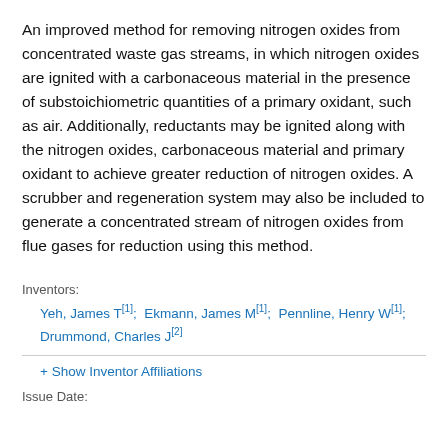An improved method for removing nitrogen oxides from concentrated waste gas streams, in which nitrogen oxides are ignited with a carbonaceous material in the presence of substoichiometric quantities of a primary oxidant, such as air. Additionally, reductants may be ignited along with the nitrogen oxides, carbonaceous material and primary oxidant to achieve greater reduction of nitrogen oxides. A scrubber and regeneration system may also be included to generate a concentrated stream of nitrogen oxides from flue gases for reduction using this method.
Inventors:
Yeh, James T [1]; Ekmann, James M [1]; Pennline, Henry W [1]; Drummond, Charles J [2]
+ Show Inventor Affiliations
Issue Date: